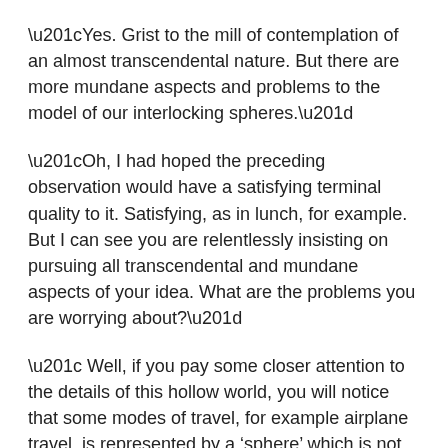“Yes. Grist to the mill of contemplation of an almost transcendental nature. But there are more mundane aspects and problems to the model of our interlocking spheres.”
“Oh, I had hoped the preceding observation would have a satisfying terminal quality to it. Satisfying, as in lunch, for example. But I can see you are relentlessly insisting on pursuing all transcendental and mundane aspects of your idea. What are the problems you are worrying about?”
“ Well, if you pay some closer attention to the details of this hollow world, you will notice that some modes of travel, for example airplane travel, is represented by a ‘sphere’ which is not at all a complete surface, but rather a web of flight corridors. Even if, in theory, you can fly